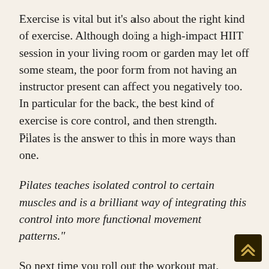Exercise is vital but it's also about the right kind of exercise. Although doing a high-impact HIIT session in your living room or garden may let off some steam, the poor form from not having an instructor present can affect you negatively too. In particular for the back, the best kind of exercise is core control, and then strength. Pilates is the answer to this in more ways than one.
Pilates teaches isolated control to certain muscles and is a brilliant way of integrating this control into more functional movement patterns."
So next time you roll out the workout mat, consider a low-impact but still highly effective Pilates or barre session virtually instead of a high-impact HIIT one. Your back will thank you later.